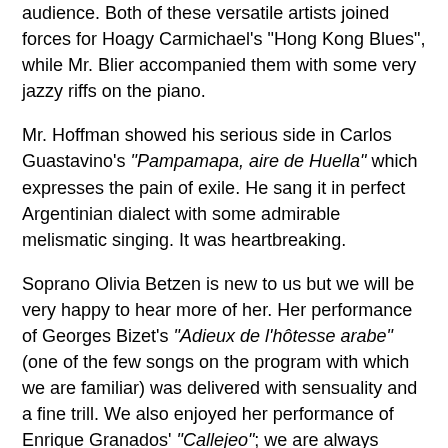audience.  Both of these versatile artists joined forces for Hoagy Carmichael's "Hong Kong Blues", while Mr. Blier accompanied them with some very jazzy riffs on the piano.
Mr. Hoffman showed his serious side in Carlos Guastavino's "Pampamapa, aire de Huella" which expresses the pain of exile.  He sang it in perfect Argentinian dialect with some admirable melismatic singing.  It was heartbreaking.
Soprano Olivia Betzen is new to us but we will be very happy to hear more of her.  Her performance of Georges Bizet's "Adieux de l'hôtesse arabe" (one of the few songs on the program with which we are familiar) was delivered with sensuality and a fine trill.  We also enjoyed her performance of Enrique Granados' "Callejeo"; we are always delighted with zarzuela and tonadillas.
Mezzo-soprano Annie Rosen, also new to us, was delightful in William Bolcom's "To My Old Addresses" in which Leann Osterkamp (who shared accompanying with Mr. Blier) got an opportunity to show off her skill at the piano.  Ms. Rosen was heart-wrenching in the desperate "J'attends un navire" by Kurt Weill...